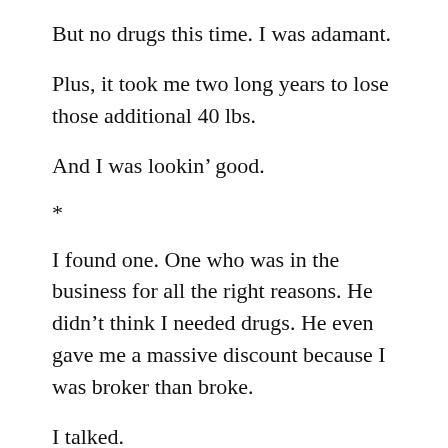But no drugs this time. I was adamant.
Plus, it took me two long years to lose those additional 40 lbs.
And I was lookin’ good.
*
I found one. One who was in the business for all the right reasons. He didn’t think I needed drugs. He even gave me a massive discount because I was broker than broke.
I talked.
He called back.